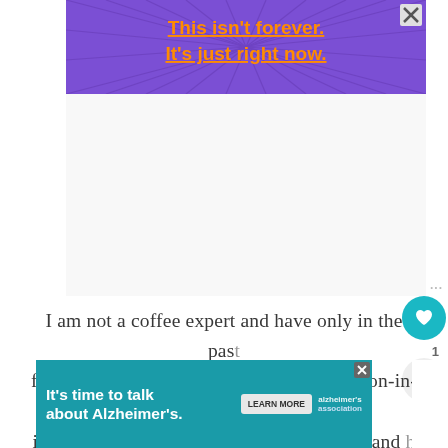[Figure (screenshot): Purple advertisement banner with radiating lines pattern, orange bold text reading "This isn't forever. It's just right now." with underline, and an X close button in top right]
I am not a coffee expert and have only in the past few years began really liking coffee. My son-in-l is the knowledgeable barista in the family and h has inspired me to experiment.
[Figure (screenshot): Teal/cyan Alzheimer's Association advertisement banner with text "It's time to talk about Alzheimer's." LEARN MORE button, and Alzheimer's Association logo with X close button]